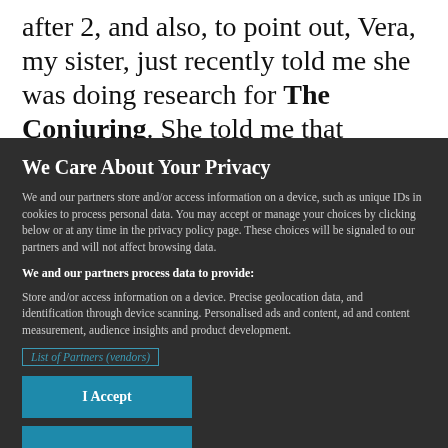after 2, and also, to point out, Vera, my sister, just recently told me she was doing research for The Conjuring. She told me that witching
We Care About Your Privacy
We and our partners store and/or access information on a device, such as unique IDs in cookies to process personal data. You may accept or manage your choices by clicking below or at any time in the privacy policy page. These choices will be signaled to our partners and will not affect browsing data.
We and our partners process data to provide:
Store and/or access information on a device. Precise geolocation data, and identification through device scanning. Personalised ads and content, ad and content measurement, audience insights and product development.
List of Partners (vendors)
I Accept